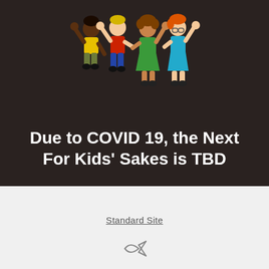[Figure (illustration): Cartoon illustration of four children holding hands and raising arms in celebration, diverse group with different skin tones and clothing colors (yellow, red, green, teal)]
Due to COVID 19, the Next For Kids' Sakes is TBD
Standard Site
[Figure (illustration): Small fish icon (Christian ichthys symbol)]